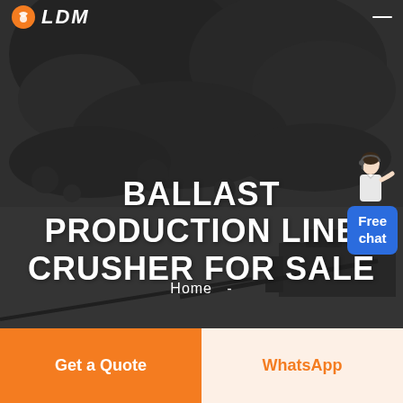LDM
[Figure (photo): Dark grayscale hero image of a rocky quarry/mining site with large rock/coal piles and heavy machinery visible in the lower right portion. Dark overlay applied.]
[Figure (illustration): Chat support avatar: woman in white outfit with headset, pointing gesture, with a blue 'Free chat' bubble below]
BALLAST PRODUCTION LINE CRUSHER FOR SALE
Home -
Get a Quote
WhatsApp